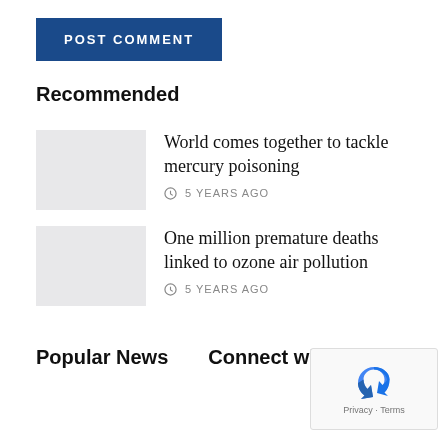POST COMMENT
Recommended
World comes together to tackle mercury poisoning
5 YEARS AGO
One million premature deaths linked to ozone air pollution
5 YEARS AGO
Popular News
Connect with us
[Figure (other): reCAPTCHA widget with Google logo and Privacy - Terms links]